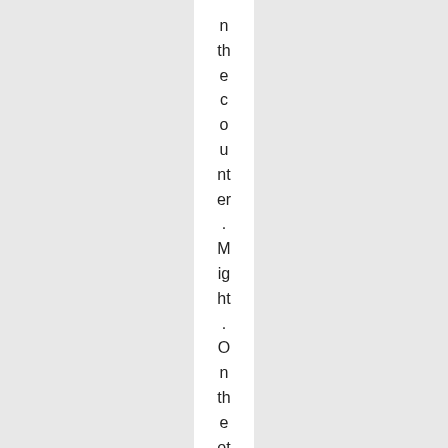n the counter. Might. On the other hand, the Pro